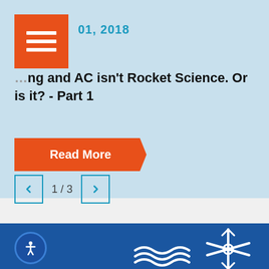[Figure (screenshot): Orange hamburger menu icon square]
01, 2018
…ing and AC isn't Rocket Science. Or is it? - Part 1
Read More
1 / 3
[Figure (illustration): Website footer with blue background, accessibility icon, wave icon and snowflake icon]